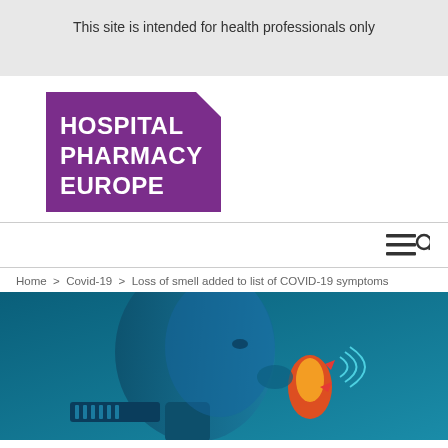This site is intended for health professionals only
[Figure (logo): Hospital Pharmacy Europe logo — purple rectangle with angled top-right corner, white bold text reading HOSPITAL PHARMACY EUROPE]
[Figure (infographic): Navigation bar with hamburger menu icon and search icon on the right]
Home > Covid-19 > Loss of smell added to list of COVID-19 symptoms
[Figure (illustration): Medical illustration showing a human head profile in blue tones with olfactory/smell related imagery including orange flame-like shapes and red arrows indicating nasal/smell area, on a teal/blue background]